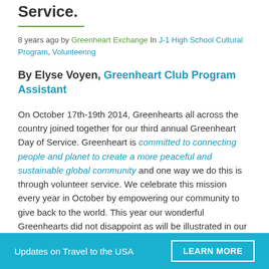Service.
8 years ago by Greenheart Exchange In J-1 High School Cultural Program, Volunteering
By Elyse Voyen, Greenheart Club Program Assistant
On October 17th-19th 2014, Greenhearts all across the country joined together for our third annual Greenheart Day of Service. Greenheart is committed to connecting people and planet to create a more peaceful and sustainable global community and one way we do this is through volunteer service. We celebrate this mission every year in October by empowering our community to give back to the world. This year our wonderful Greenhearts did not disappoint as will be illustrated in our three highlighted projects below.
Updates on Travel to the USA   LEARN MORE